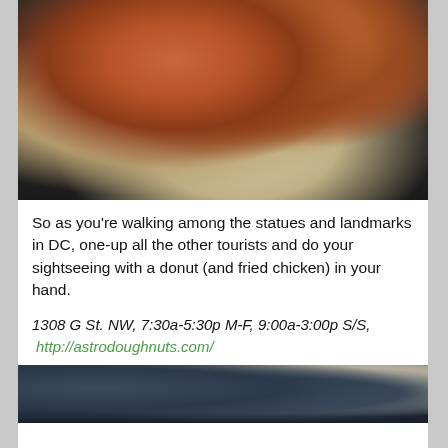[Figure (photo): Photo of fried chicken pieces in a basket on a dark textured surface]
So as you're walking among the statues and landmarks in DC, one-up all the other tourists and do your sightseeing with a donut (and fried chicken) in your hand.
1308 G St. NW, 7:30a-5:30p M-F, 9:00a-3:00p S/S, http://astrodoughnuts.com/
[Figure (photo): Partial photo of dark textured surface and white container at bottom of page]